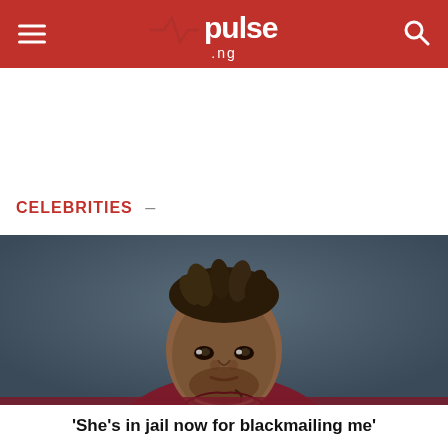pulse.ng
CELEBRITIES —
[Figure (photo): Portrait photo of a young Black man with twisted/dreaded hair styled upward, wearing a dark maroon/burgundy collared shirt and a chain necklace, with a tattoo on his neck, against a grey-blue background.]
'She's in jail now for blackmailing me'